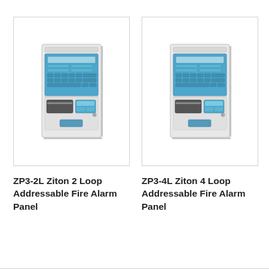[Figure (photo): ZP3-2L Ziton 2 Loop Addressable Fire Alarm Panel — grey wall-mounted control panel with blue display and keypad section]
[Figure (photo): ZP3-4L Ziton 4 Loop Addressable Fire Alarm Panel — grey wall-mounted control panel with blue display and keypad section]
ZP3-2L Ziton 2 Loop Addressable Fire Alarm Panel
ZP3-4L Ziton 4 Loop Addressable Fire Alarm Panel